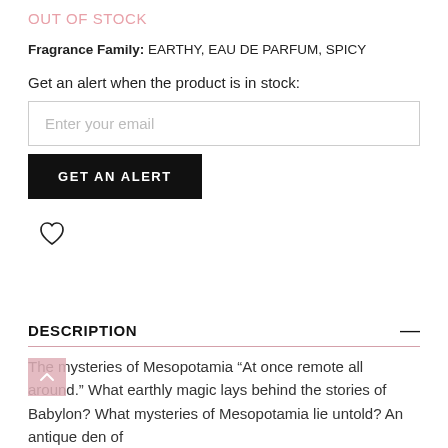OUT OF STOCK
Fragrance Family: EARTHY, EAU DE PARFUM, SPICY
Get an alert when the product is in stock:
Enter your email
GET AN ALERT
[Figure (illustration): Heart icon (wishlist/favorite button)]
DESCRIPTION
The mysteries of Mesopotamia “At once remote all around.” What earthly magic lays behind the stories of Babylon? What mysteries of Mesopotamia lie untold? An antique den of